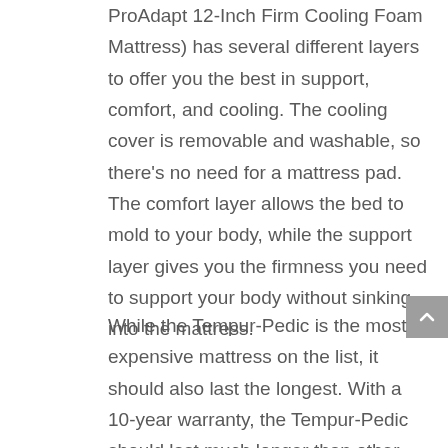ProAdapt 12-Inch Firm Cooling Foam Mattress) has several different layers to offer you the best in support, comfort, and cooling. The cooling cover is removable and washable, so there's no need for a mattress pad. The comfort layer allows the bed to mold to your body, while the support layer gives you the firmness you need to support your body without sinking into the mattress.
While the Tempur-Pedic is the most expensive mattress on the list, it should also last the longest. With a 10-year warranty, the Tempur-Pedic should last much longer than other mattresses on this list which are